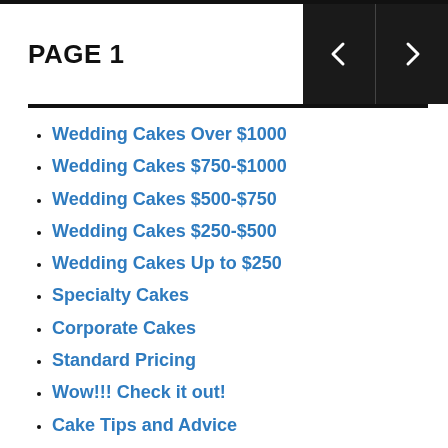PAGE 1
Wedding Cakes Over $1000
Wedding Cakes $750-$1000
Wedding Cakes $500-$750
Wedding Cakes $250-$500
Wedding Cakes Up to $250
Specialty Cakes
Corporate Cakes
Standard Pricing
Wow!!! Check it out!
Cake Tips and Advice